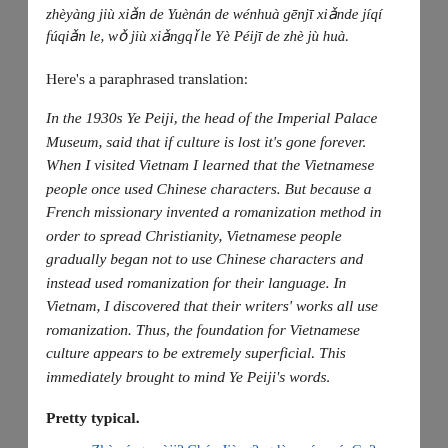zhèyàng jiù xiǎn de Yuènán de wénhuà gēnjī xiǎnde jíqí fúqiǎn le, wǒ jiù xiǎngqǐ le Yè Péijī de zhè jù huà.
Here's a paraphrased translation:
In the 1930s Ye Peiji, the head of the Imperial Palace Museum, said that if culture is lost it's gone forever. When I visited Vietnam I learned that the Vietnamese people once used Chinese characters. But because a French missionary invented a romanization method in order to spread Christianity, Vietnamese people gradually began not to use Chinese characters and instead used romanization for their language. In Vietnam, I discovered that their writers' works all use romanization. Thus, the foundation for Vietnamese culture appears to be extremely superficial. This immediately brought to mind Ye Peiji's words.
Pretty typical.
source: Zhùmíng zuòji? Chén Jiàng?ng lùn wénxué: Gu?ngzh?u bù shi wénhuà sh?mò (古典文學作家:文化沙漠論), Dàyáng Wǎng, December 16, 2005.